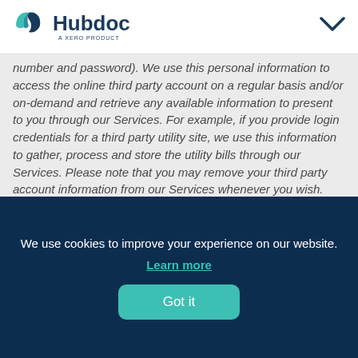Hubdoc — A Xero Product
number and password). We use this personal information to access the online third party account on a regular basis and/or on-demand and retrieve any available information to present to you through our Services. For example, if you provide login credentials for a third party utility site, we use this information to gather, process and store the utility bills through our Services. Please note that you may remove your third party account information from our Services whenever you wish.
Upload or Email Documents to Our Services
When you email or upload documents to our Services via the
We use cookies to improve your experience on our website.
Learn more
Got it